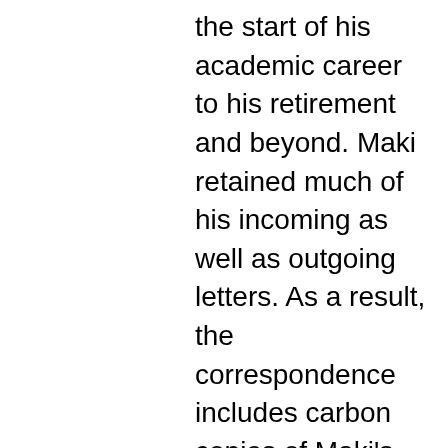the start of his academic career to his retirement and beyond. Maki retained much of his incoming as well as outgoing letters. As a result, the correspondence includes carbon copies of Maki's initial letter and/or response. This series contains material related to Maki's career with the University of Washington, University of Massachusetts Amherst, and Hokkaido University, as well as material on arranging